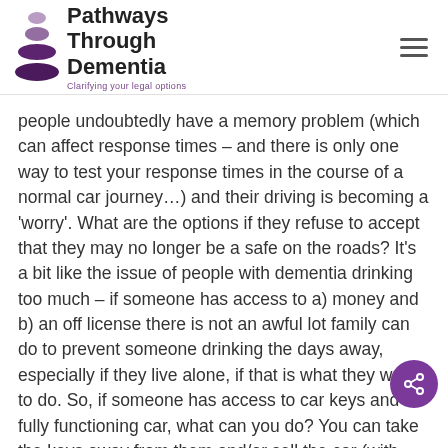[Figure (logo): Pathways Through Dementia logo with stacked purple oval shapes and tagline 'Clarifying your legal options']
people undoubtedly have a memory problem (which can affect response times – and there is only one way to test your response times in the course of a normal car journey…) and their driving is becoming a 'worry'. What are the options if they refuse to accept that they may no longer be a safe on the roads? It's a bit like the issue of people with dementia drinking too much – if someone has access to a) money and b) an off license there is not an awful lot family can do to prevent someone drinking the days away, especially if they live alone, if that is what they want to do. So, if someone has access to car keys and a fully functioning car, what can you do? You can take the keys away from them and/or sell the car (with